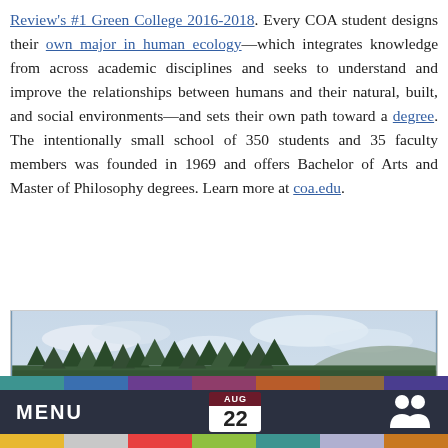Review's #1 Green College 2016-2018. Every COA student designs their own major in human ecology—which integrates knowledge from across academic disciplines and seeks to understand and improve the relationships between humans and their natural, built, and social environments—and sets their own path toward a degree. The intentionally small school of 350 students and 35 faculty members was founded in 1969 and offers Bachelor of Arts and Master of Philosophy degrees. Learn more at coa.edu.
[Figure (photo): Outdoor photo of people kayaking and swimming in a bay or lake with forested shoreline and hills in background.]
MENU | AUG 22 | People icon